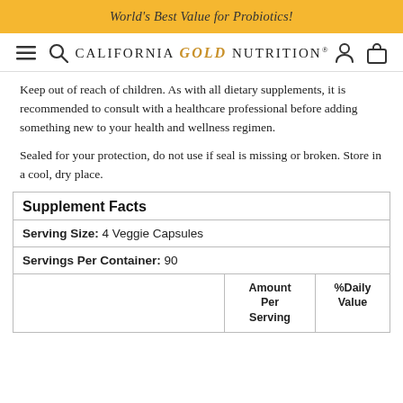World's Best Value for Probiotics!
[Figure (logo): California Gold Nutrition logo with hamburger menu, search icon, user icon, and cart icon in navigation bar]
Keep out of reach of children. As with all dietary supplements, it is recommended to consult with a healthcare professional before adding something new to your health and wellness regimen.
Sealed for your protection, do not use if seal is missing or broken. Store in a cool, dry place.
|  | Amount Per Serving | %Daily Value |
| --- | --- | --- |
| Supplement Facts |  |  |
| Serving Size: 4 Veggie Capsules |  |  |
| Servings Per Container: 90 |  |  |